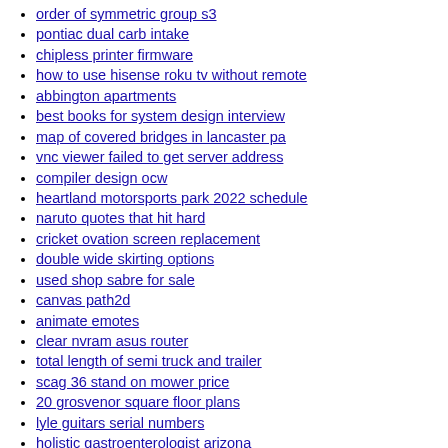order of symmetric group s3
pontiac dual carb intake
chipless printer firmware
how to use hisense roku tv without remote
abbington apartments
best books for system design interview
map of covered bridges in lancaster pa
vnc viewer failed to get server address
compiler design ocw
heartland motorsports park 2022 schedule
naruto quotes that hit hard
cricket ovation screen replacement
double wide skirting options
used shop sabre for sale
canvas path2d
animate emotes
clear nvram asus router
total length of semi truck and trailer
scag 36 stand on mower price
20 grosvenor square floor plans
lyle guitars serial numbers
holistic gastroenterologist arizona
stifled in a sentence
ade advanced optics rd3 009
referral and sign up bonuses